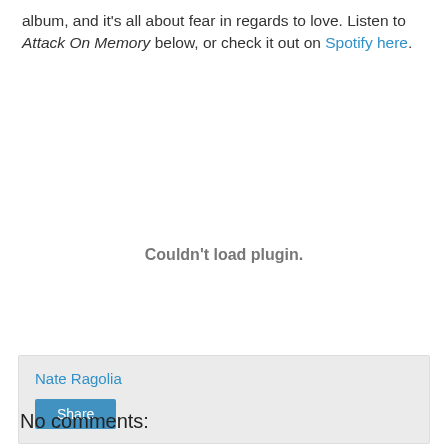album, and it's all about fear in regards to love. Listen to Attack On Memory below, or check it out on Spotify here.
[Figure (other): Embedded media plugin area showing 'Couldn't load plugin.' message]
Nate Ragolia
Share
No comments: